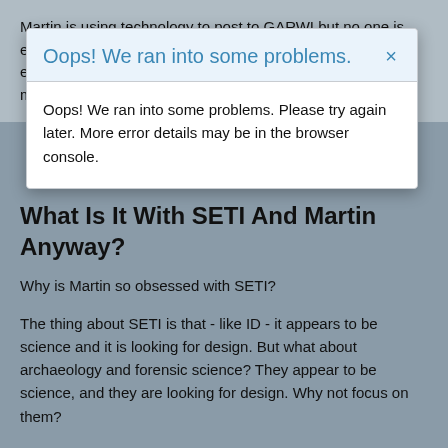Martin is using technology to post to GARWI but no one is ever going to mistake that for science! Using technology - even "massive and cutting edge technologies" does not make something science.
What Is It With SETI And Martin Anyway?
Why is Martin so obsessed with SETI?
The thing about SETI is that - like ID - it appears to be science and it is looking for design. But what about archaeology and forensic science? They appear to be science, and they are looking for design. Why not focus on them?
Because archaeology and forensic science do it right. They are
[Figure (screenshot): Error modal dialog with header 'Oops! We ran into some problems.' in blue text on light blue background, with a close button (×). Body text reads: 'Oops! We ran into some problems. Please try again later. More error details may be in the browser console.']